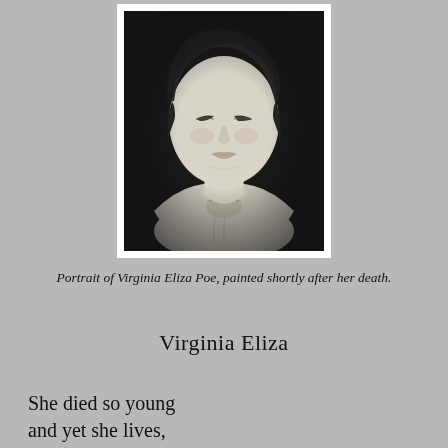[Figure (photo): Black and white portrait of Virginia Eliza Poe, a classical bust-style image showing a young woman looking downward with draped fabric, painted posthumously.]
Portrait of Virginia Eliza Poe, painted shortly after her death.
Virginia Eliza
She died so young
and yet she lives,
a dark strawflower
pressed in poems